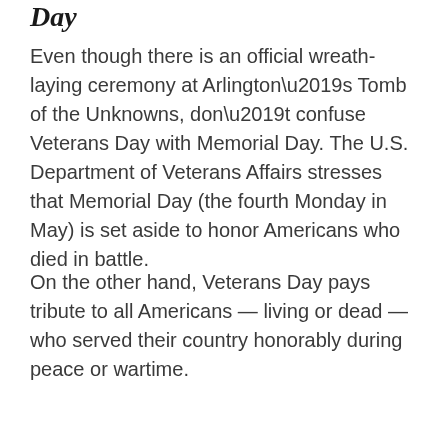Day
Even though there is an official wreath-laying ceremony at Arlington’s Tomb of the Unknowns, don’t confuse Veterans Day with Memorial Day. The U.S. Department of Veterans Affairs stresses that Memorial Day (the fourth Monday in May) is set aside to honor Americans who died in battle.
On the other hand, Veterans Day pays tribute to all Americans — living or dead — who served their country honorably during peace or wartime.